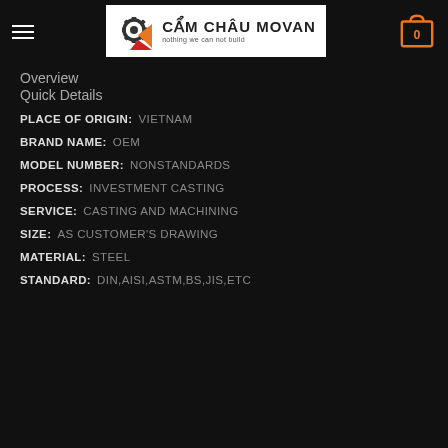Cẩm Châu Movan — nothing we can not build
Overview
Quick Details
PLACE OF ORIGIN:  VIETNAM
BRAND NAME:  OEM
MODEL NUMBER:  NONSTANDARDS
PROCESS:  INVESTMENT CASTING
SERVICE:  CASTING AND MACHINING
SIZE:  AS CUSTOMER'S DRAWING
MATERIAL:  STEEL
STANDARD:  DIN,AISI,ASTM,BS,JIS,ETC